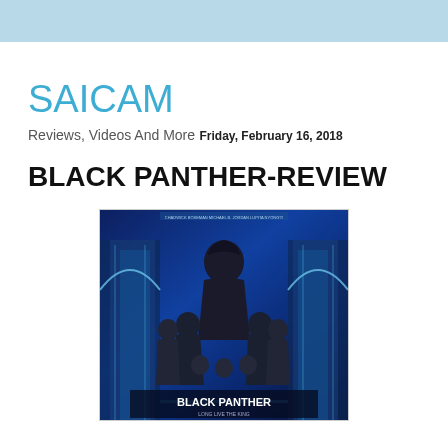SAICAM
Reviews, Videos And More
Friday, February 16, 2018
BLACK PANTHER-REVIEW
[Figure (photo): Black Panther movie poster showing multiple characters on a dark blue background with futuristic architectural elements]